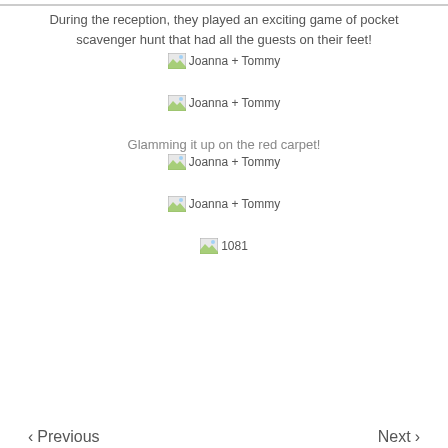During the reception, they played an exciting game of pocket scavenger hunt that had all the guests on their feet!
[Figure (photo): Broken image placeholder labeled 'Joanna + Tommy']
[Figure (photo): Broken image placeholder labeled 'Joanna + Tommy']
Glamming it up on the red carpet!
[Figure (photo): Broken image placeholder labeled 'Joanna + Tommy']
[Figure (photo): Broken image placeholder labeled 'Joanna + Tommy']
[Figure (photo): Broken image placeholder labeled '1081']
‹ Previous   Next ›